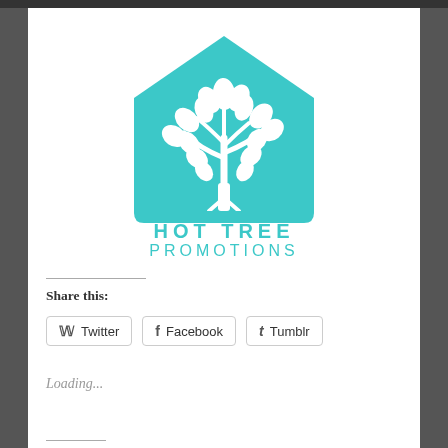[Figure (logo): Hot Tree Promotions logo: teal/turquoise house shape with a white tree silhouette inside, text 'HOT TREE PROMOTIONS' below in teal]
Share this:
Twitter  Facebook  Tumblr
Loading...